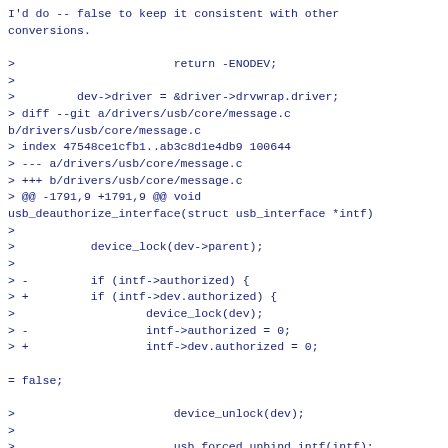I'd do -- false to keep it consistent with other conversions.

>                       return -ENODEV;
>
>         dev->driver = &driver->drvwrap.driver;
> diff --git a/drivers/usb/core/message.c b/drivers/usb/core/message.c
> index 47548ce1cfb1..ab3c8d1e4db9 100644
> --- a/drivers/usb/core/message.c
> +++ b/drivers/usb/core/message.c
> @@ -1791,9 +1791,9 @@ void usb_deauthorize_interface(struct usb_interface *intf)
>
>           device_lock(dev->parent);
>
> -         if (intf->authorized) {
> +         if (intf->dev.authorized) {
>                   device_lock(dev);
> -                 intf->authorized = 0;
> +                 intf->dev.authorized = 0;

= false;

>                       device_unlock(dev);
>
>                       usb_forced_unbind_intf(intf);
> @@ -1811,9 +1811,9 @@ void usb_authorize_interface(struct usb_interface *intf)
>   {